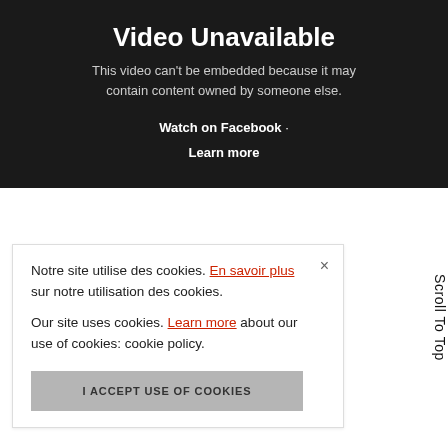Video Unavailable
This video can't be embedded because it may contain content owned by someone else.
Watch on Facebook · Learn more
Notre site utilise des cookies. En savoir plus sur notre utilisation des cookies.

Our site uses cookies. Learn more about our use of cookies: cookie policy.
I ACCEPT USE OF COOKIES
Scroll To Top